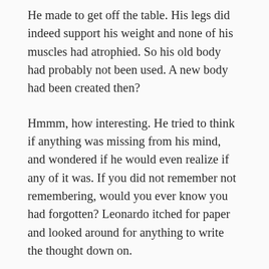He made to get off the table. His legs did indeed support his weight and none of his muscles had atrophied. So his old body had probably not been used. A new body had been created then?
Hmmm, how interesting. He tried to think if anything was missing from his mind, and wondered if he would even realize if any of it was. If you did not remember not remembering, would you ever know you had forgotten? Leonardo itched for paper and looked around for anything to write the thought down on.
Leonardo thought that he should be more concerned that he can't remember being